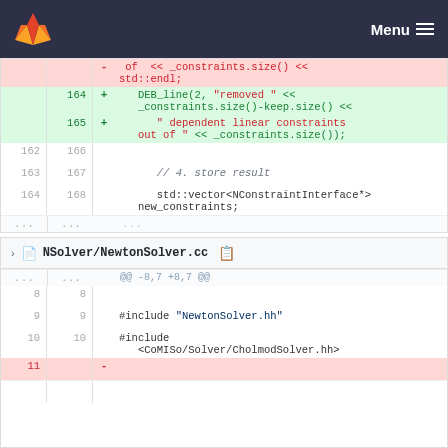Menu
[Figure (screenshot): GitLab diff view showing code changes. First diff block shows additions of DEB_line debug output (lines 164-165) and context lines 162-164/166-168 with std::vector<NConstraintInterface*> new_constraints. Second diff block shows NSolver/NewtonSolver.cc with lines 8-11 including #include directives.]
@@ -8,7 +8,7 @@
8  8
9  9   #include "NewtonSolver.hh"
10 10  #include <CoMISo/Solver/CholmodSolver.hh>
11     -